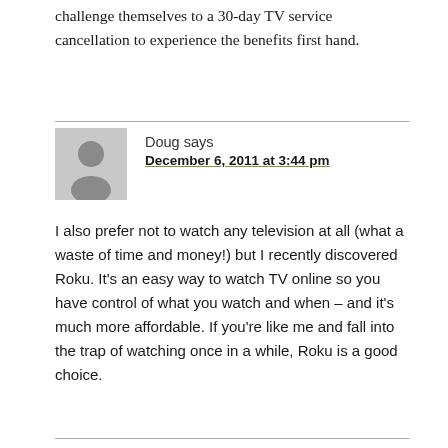challenge themselves to a 30-day TV service cancellation to experience the benefits first hand.
Doug says
December 6, 2011 at 3:44 pm
I also prefer not to watch any television at all (what a waste of time and money!) but I recently discovered Roku. It’s an easy way to watch TV online so you have control of what you watch and when – and it’s much more affordable. If you’re like me and fall into the trap of watching once in a while, Roku is a good choice.